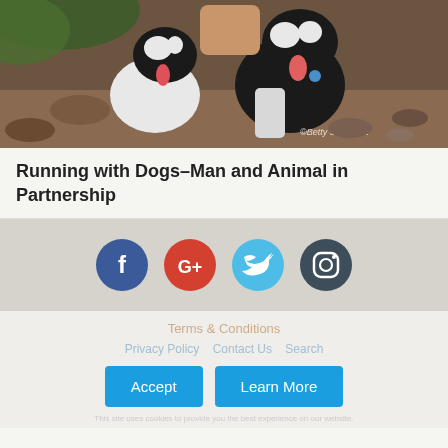[Figure (photo): Two black and white border collie dogs standing outdoors on a dirt trail, with a person partially visible behind them. Watermark reads '©Betty Shepherd' in bottom right.]
Running with Dogs–Man and Animal in Partnership
[Figure (infographic): Social media icons row: Facebook (blue circle with f), Google+ (red circle with G+), Twitter (light blue circle with bird), Instagram (dark teal circle with camera)]
Terms & Conditions
Privacy Policy   Contact Us   Search
Accept   Learn More